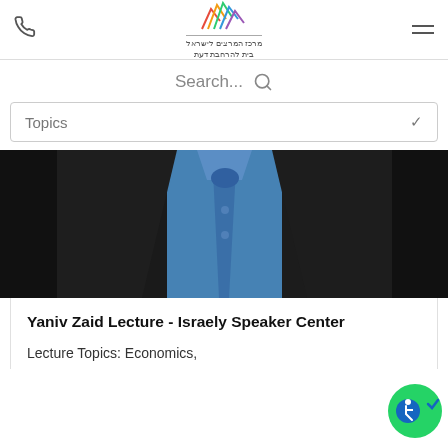מרכז המרצים לישראל – בית להרחבת דעת (logo with phone and hamburger menu)
Search...
Topics
[Figure (photo): Close-up photo of a man in a dark suit with a blue shirt and blue tie]
Yaniv Zaid Lecture - Israely Speaker Center
Lecture Topics: Economics,